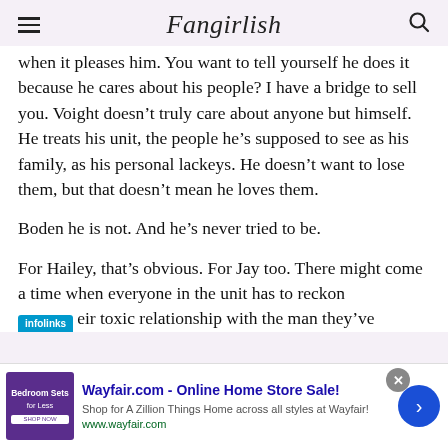Fangirlish
when it pleases him. You want to tell yourself he does it because he cares about his people? I have a bridge to sell you. Voight doesn't truly care about anyone but himself. He treats his unit, the people he's supposed to see as his family, as his personal lackeys. He doesn't want to lose them, but that doesn't mean he loves them.
Boden he is not. And he's never tried to be.
For Hailey, that's obvious. For Jay too. There might come a time when everyone in the unit has to reckon …eir toxic relationship with the man they've
[Figure (screenshot): Advertisement banner: infolinks label, Wayfair.com - Online Home Store Sale! ad with purple bedroom furniture image, close button, and arrow button]